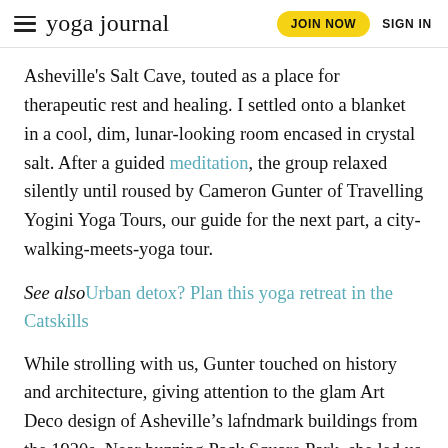yoga journal | JOIN NOW | SIGN IN
Asheville's Salt Cave, touted as a place for therapeutic rest and healing. I settled onto a blanket in a cool, dim, lunar-looking room encased in crystal salt. After a guided meditation, the group relaxed silently until roused by Cameron Gunter of Travelling Yogini Yoga Tours, our guide for the next part, a city-walking-meets-yoga tour.
See also Urban detox? Plan this yoga retreat in the Catskills
While strolling with us, Gunter touched on history and architecture, giving attention to the glam Art Deco design of Asheville’s lafndmark buildings from the 1920s. Near buzzing Pack Square Park, she led us through 15 minutes of standing poses on a grassy area. With all the activity swirling around—street performers, passing trolley cars—no one seemed to notice us.